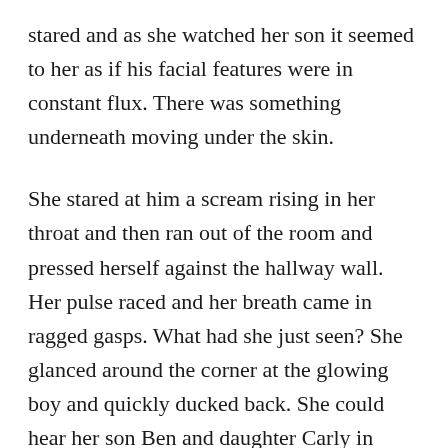stared and as she watched her son it seemed to her as if his facial features were in constant flux. There was something underneath moving under the skin.
She stared at him a scream rising in her throat and then ran out of the room and pressed herself against the hallway wall. Her pulse raced and her breath came in ragged gasps. What had she just seen? She glanced around the corner at the glowing boy and quickly ducked back. She could hear her son Ben and daughter Carly in another room speaking to each other in a language she didn’t think was possible to pronounce with human vocal chords.